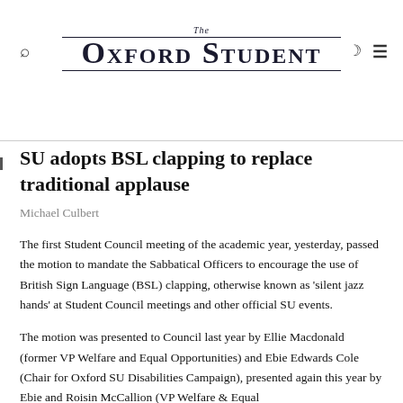The Oxford Student
SU adopts BSL clapping to replace traditional applause
Michael Culbert
The first Student Council meeting of the academic year, yesterday, passed the motion to mandate the Sabbatical Officers to encourage the use of British Sign Language (BSL) clapping, otherwise known as 'silent jazz hands' at Student Council meetings and other official SU events.
The motion was presented to Council last year by Ellie Macdonald (former VP Welfare and Equal Opportunities) and Ebie Edwards Cole (Chair for Oxford SU Disabilities Campaign), presented again this year by Ebie and Roisin McCallion (VP Welfare & Equal